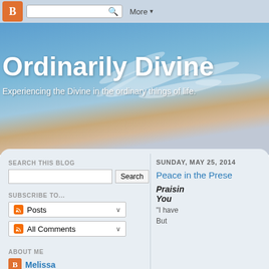B [search box] Q  More ▾
[Figure (screenshot): Hero banner with sky and clouds background]
Ordinarily Divine
Experiencing the Divine in the ordinary things of life.
SEARCH THIS BLOG
[Search input] Search
SUBSCRIBE TO...
Posts ∨
All Comments ∨
ABOUT ME
Melissa
SUNDAY, MAY 25, 2014
Peace in the Prese...
Praising... You
"I have
But